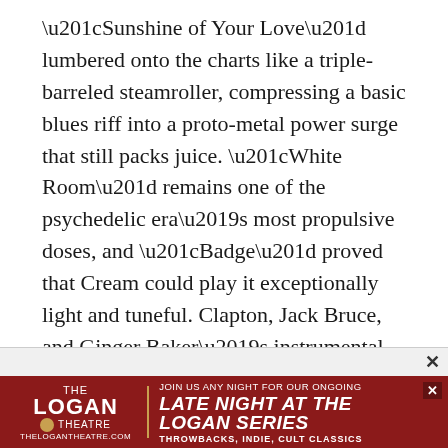“Sunshine of Your Love” lumbered onto the charts like a triple-barreled steamroller, compressing a basic blues riff into a proto-metal power surge that still packs juice. “White Room” remains one of the psychedelic era’s most propulsive doses, and “Badge” proved that Cream could play it exceptionally light and tuneful. Clapton, Jack Bruce, and Ginger Baker’s instrumental interplay fired their boiling studio rendition of “Rollin’ and Tumblin’,” the churning “Deserted Cities of the Heart,” and, of course, the classic live take of “Crossroads.”
[Figure (other): Advertisement banner for The Logan Theatre: 'Join us any night for our ongoing LATE NIGHT AT THE LOGAN SERIES — Throwbacks, Indie, Cult Classics' on a dark red background]